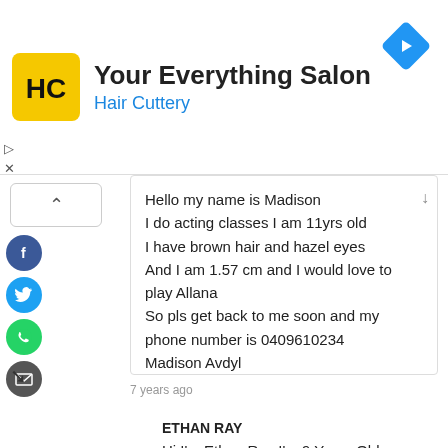[Figure (logo): Hair Cuttery logo – yellow rounded square with HC monogram]
Your Everything Salon
Hair Cuttery
Hello my name is Madison
I do acting classes I am 11yrs old
I have brown hair and hazel eyes
And I am 1.57 cm and I would love to play Allana
So pls get back to me soon and my phone number is 0409610234
Madison Avdyl
7 years ago
ETHAN RAY
Hi I'm Ethan Ray I'm 9 Years Old